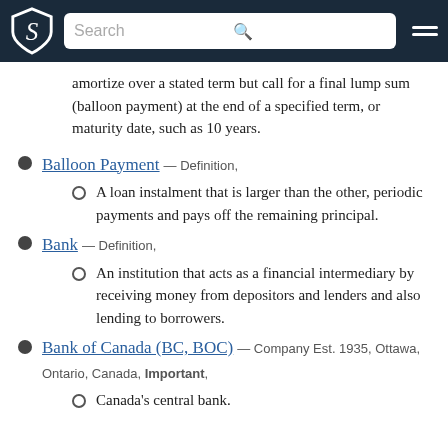Search
amortize over a stated term but call for a final lump sum (balloon payment) at the end of a specified term, or maturity date, such as 10 years.
Balloon Payment — Definition,
A loan instalment that is larger than the other, periodic payments and pays off the remaining principal.
Bank — Definition,
An institution that acts as a financial intermediary by receiving money from depositors and lenders and also lending to borrowers.
Bank of Canada (BC, BOC) — Company Est. 1935, Ottawa, Ontario, Canada, Important,
Canada's central bank.